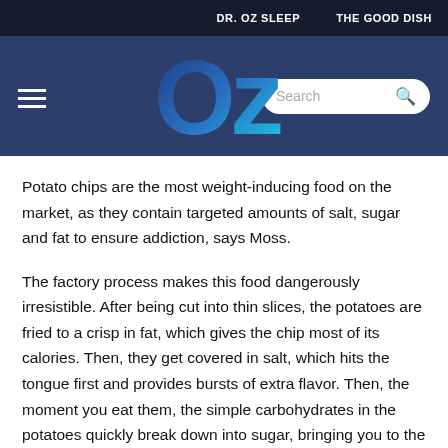DR. OZ SLEEP    THE GOOD DISH
[Figure (logo): Dr. Oz website header with hamburger menu, OZ logo in blue gradient, and search bar on dark navy blue background]
Potato chips are the most weight-inducing food on the market, as they contain targeted amounts of salt, sugar and fat to ensure addiction, says Moss.
The factory process makes this food dangerously irresistible. After being cut into thin slices, the potatoes are fried to a crisp in fat, which gives the chip most of its calories. Then, they get covered in salt, which hits the tongue first and provides bursts of extra flavor. Then, the moment you eat them, the simple carbohydrates in the potatoes quickly break down into sugar, bringing you to the "bliss point" that makes the chip the most enjoyable. The sugar then quickly enters your bloodstream – causing your blood sugar to